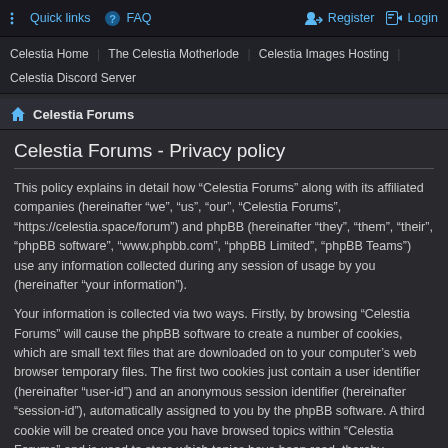Quick links  FAQ  Register  Login
Celestia Home | The Celestia Motherlode | Celestia Images Hosting | Celestia Discord Server
Celestia Forums
Celestia Forums - Privacy policy
This policy explains in detail how “Celestia Forums” along with its affiliated companies (hereinafter “we”, “us”, “our”, “Celestia Forums”, “https://celestia.space/forum”) and phpBB (hereinafter “they”, “them”, “their”, “phpBB software”, “www.phpbb.com”, “phpBB Limited”, “phpBB Teams”) use any information collected during any session of usage by you (hereinafter “your information”).
Your information is collected via two ways. Firstly, by browsing “Celestia Forums” will cause the phpBB software to create a number of cookies, which are small text files that are downloaded on to your computer’s web browser temporary files. The first two cookies just contain a user identifier (hereinafter “user-id”) and an anonymous session identifier (hereinafter “session-id”), automatically assigned to you by the phpBB software. A third cookie will be created once you have browsed topics within “Celestia Forums” and is used to store which topics have been read, thereby improving your user experience.